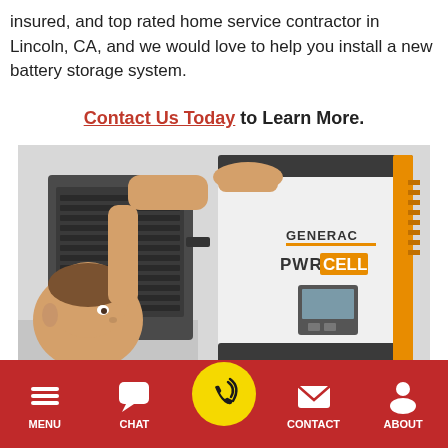insured, and top rated home service contractor in Lincoln, CA, and we would love to help you install a new battery storage system.
Contact Us Today to Learn More.
[Figure (photo): A person installing a Generac PWR Cell battery storage unit on a wall. The unit is white and grey with an orange stripe and the Generac PWR CELL branding visible.]
MENU  CHAT  [phone]  CONTACT  ABOUT